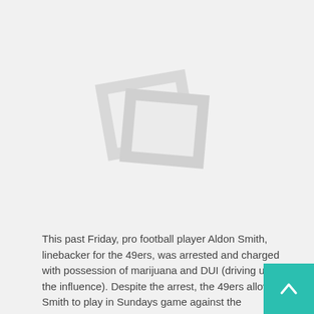[Figure (illustration): Placeholder image icon showing two overlapping rotated rectangles with frames, indicating a missing or unloaded image.]
This past Friday, pro football player Aldon Smith, linebacker for the 49ers, was arrested and charged with possession of marijuana and DUI (driving under the influence).  Despite the arrest, the 49ers allowed Smith to play in Sundays game against the Indianapolis Colts.  When the game ended, Smith returned to the locker room to discover his locker was a great